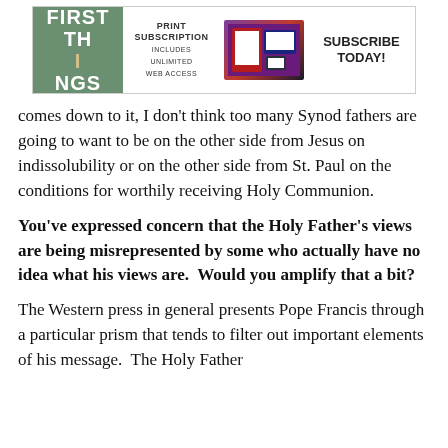[Figure (infographic): First Things magazine advertisement banner with green logo on left, 'PRINT SUBSCRIPTION INCLUDES UNLIMITED WEB ACCESS' text in middle, device images, and 'SUBSCRIBE TODAY!' on right]
comes down to it, I don't think too many Synod fathers are going to want to be on the other side from Jesus on indissolubility or on the other side from St. Paul on the conditions for worthily receiving Holy Communion.
You've expressed concern that the Holy Father's views are being misrepresented by some who actually have no idea what his views are. Would you amplify that a bit?
The Western press in general presents Pope Francis through a particular prism that tends to filter out important elements of his message. The Holy Father calls for a new evangelization, but we are so accustomed to